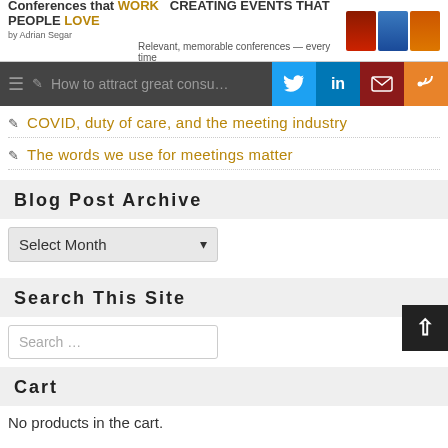Conferences that WORK  CREATING EVENTS THAT PEOPLE LOVE  by Adrian Segar  Relevant, memorable conferences — every time
How to attract great consu…
COVID, duty of care, and the meeting industry
The words we use for meetings matter
Blog Post Archive
Select Month
Search This Site
Search …
Cart
No products in the cart.